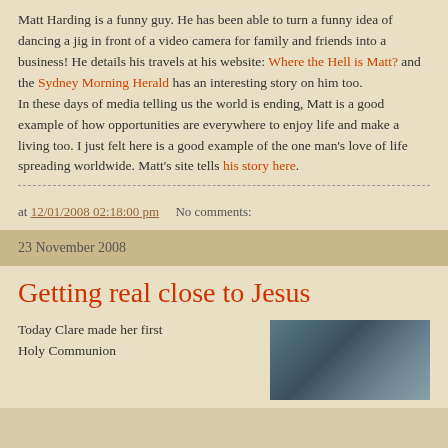Matt Harding is a funny guy. He has been able to turn a funny idea of dancing a jig in front of a video camera for family and friends into a business! He details his travels at his website: Where the Hell is Matt? and the Sydney Morning Herald has an interesting story on him too.
In these days of media telling us the world is ending, Matt is a good example of how opportunities are everywhere to enjoy life and make a living too. I just felt here is a good example of the one man's love of life spreading worldwide. Matt's site tells his story here.
at 12/01/2008 02:18:00 pm    No comments:
23 November 2008
Getting real close to Jesus
Today Clare made her first Holy Communion
[Figure (photo): Photo of a person, partially visible at bottom right of page]